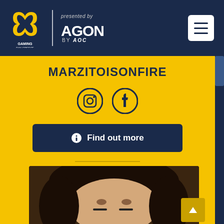[Figure (logo): Gaming Day Greece logo with AGON by AOC branding and hamburger menu button on dark navy header]
MARZITOISONFIRE
[Figure (logo): Instagram and Facebook social media icons]
Find out more
Follow livestream
[Figure (photo): Photo of a young woman with dark hair, partially visible from the top]